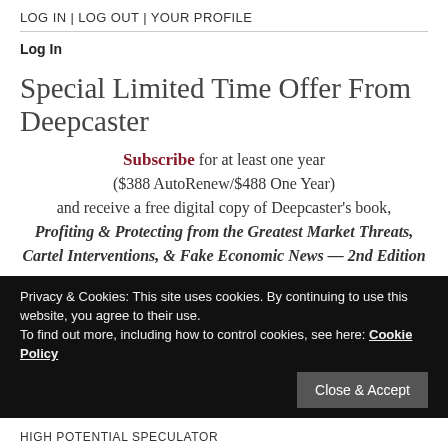LOG IN | LOG OUT | YOUR PROFILE
Log In
Special Limited Time Offer From Deepcaster
Subscribe for at least one year ($388 AutoRenew/$488 One Year) and receive a free digital copy of Deepcaster's book, Profiting & Protecting from the Greatest Market Threats, Cartel Interventions, & Fake Economic News — 2nd Edition
Privacy & Cookies: This site uses cookies. By continuing to use this website, you agree to their use. To find out more, including how to control cookies, see here: Cookie Policy
Close & Accept
HIGH POTENTIAL SPECULATOR